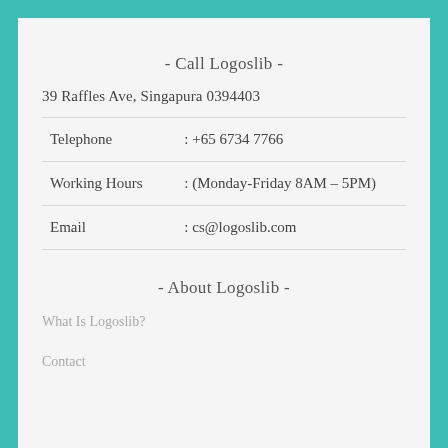- Call Logoslib -
39 Raffles Ave, Singapura 0394403
| Telephone | : +65 6734 7766 |
| Working Hours | : (Monday-Friday 8AM – 5PM) |
| Email | : cs@logoslib.com |
- About Logoslib -
What Is Logoslib?
Contact